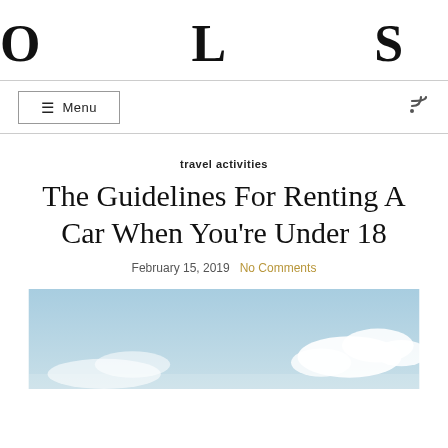OLSEN
☰ Menu
travel activities
The Guidelines For Renting A Car When You're Under 18
February 15, 2019   No Comments
[Figure (photo): Sky with clouds, light blue background, partial view of horizon]